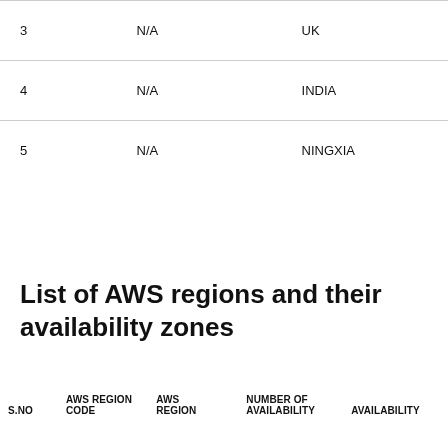| S.NO | AWS REGION CODE | AWS REGION | NUMBER OF AVAILABILITY ZONES | AVAILABILITY ZONE NAMES |
| --- | --- | --- | --- | --- |
| 3 | N/A | UK |  |  |
| 4 | N/A | INDIA |  |  |
| 5 | N/A | NINGXIA |  |  |
List of AWS regions and their availability zones
| S.NO | AWS REGION CODE | AWS REGION | NUMBER OF AVAILABILITY ZONES | AVAILABILITY ZONE NAMES |
| --- | --- | --- | --- | --- |